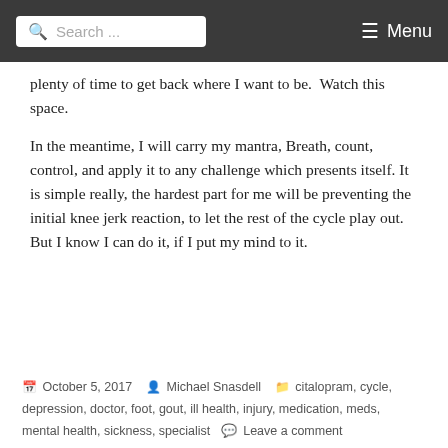Search ... Menu
plenty of time to get back where I want to be. Watch this space.
In the meantime, I will carry my mantra, Breath, count, control, and apply it to any challenge which presents itself. It is simple really, the hardest part for me will be preventing the initial knee jerk reaction, to let the rest of the cycle play out. But I know I can do it, if I put my mind to it.
October 5, 2017   Michael Snasdell   citalopram, cycle, depression, doctor, foot, gout, ill health, injury, medication, meds, mental health, sickness, specialist   Leave a comment